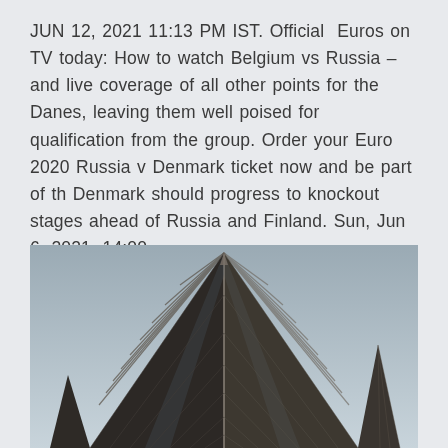JUN 12, 2021 11:13 PM IST. Official  Euros on TV today: How to watch Belgium vs Russia – and live coverage of all other points for the Danes, leaving them well poised for qualification from the group. Order your Euro 2020 Russia v Denmark ticket now and be part of th Denmark should progress to knockout stages ahead of Russia and Finland. Sun, Jun 6, 2021, 14:00.
[Figure (photo): Low-angle upward view of a modern glass and steel skyscraper with sharp triangular architectural lines converging at the top, against a pale grey-blue overcast sky.]